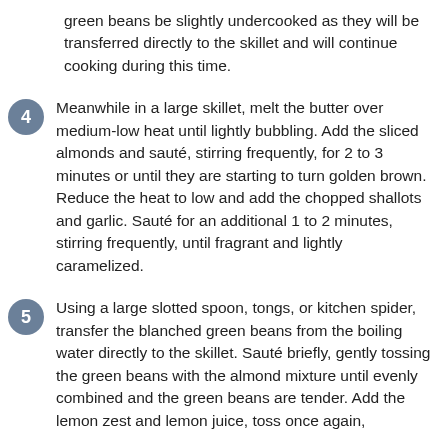green beans be slightly undercooked as they will be transferred directly to the skillet and will continue cooking during this time.
Meanwhile in a large skillet, melt the butter over medium-low heat until lightly bubbling. Add the sliced almonds and sauté, stirring frequently, for 2 to 3 minutes or until they are starting to turn golden brown. Reduce the heat to low and add the chopped shallots and garlic. Sauté for an additional 1 to 2 minutes, stirring frequently, until fragrant and lightly caramelized.
Using a large slotted spoon, tongs, or kitchen spider, transfer the blanched green beans from the boiling water directly to the skillet. Sauté briefly, gently tossing the green beans with the almond mixture until evenly combined and the green beans are tender. Add the lemon zest and lemon juice, toss once again,